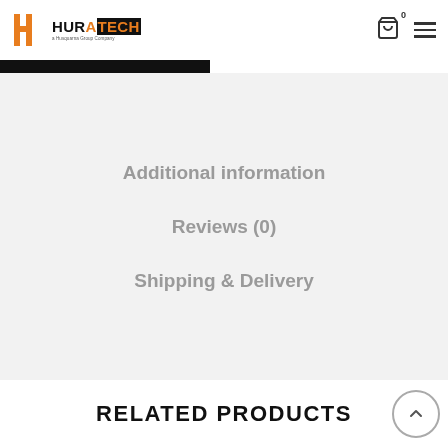[Figure (logo): Huratech logo with orange H icon and orange/black text]
Additional information
Reviews (0)
Shipping & Delivery
RELATED PRODUCTS